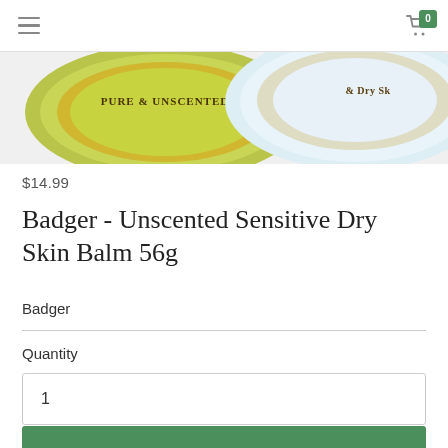≡   [cart] 0
[Figure (photo): Two round tin containers of Badger Unscented Sensitive Dry Skin Balm — one olive/green labeled 'PURE & UNSCENTED', one light blue/white — photographed from above against white background, cropped at top]
$14.99
Badger - Unscented Sensitive Dry Skin Balm 56g
Badger
Quantity
1